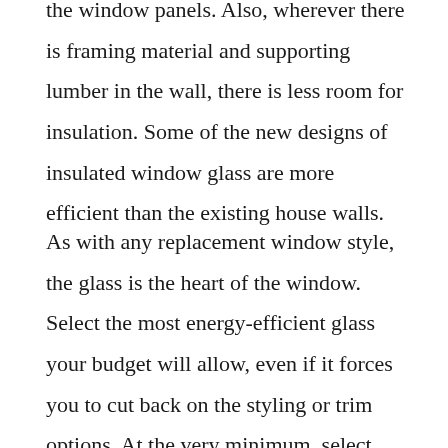the window panels. Also, wherever there is framing material and supporting lumber in the wall, there is less room for insulation. Some of the new designs of insulated window glass are more efficient than the existing house walls.
As with any replacement window style, the glass is the heart of the window. Select the most energy-efficient glass your budget will allow, even if it forces you to cut back on the styling or trim options. At the very minimum, select double-pane glass with a low-emissivity coating and inert gas in the gap between the panes. Select the